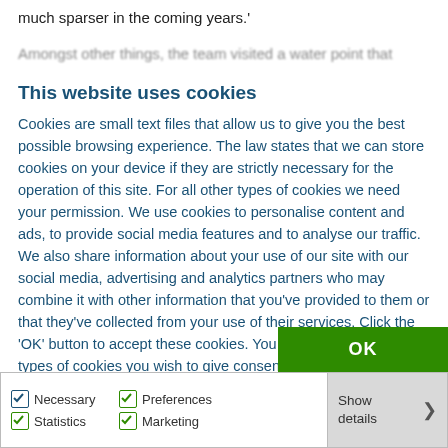much sparser in the coming years.'
Amongst other things, the team visited a water point that
This website uses cookies
Cookies are small text files that allow us to give you the best possible browsing experience. The law states that we can store cookies on your device if they are strictly necessary for the operation of this site. For all other types of cookies we need your permission. We use cookies to personalise content and ads, to provide social media features and to analyse our traffic. We also share information about your use of our site with our social media, advertising and analytics partners who may combine it with other information that you've provided to them or that they've collected from your use of their services. Click the 'OK' button to accept these cookies. You can also manage the types of cookies you wish to give consent for using the tick boxes below.
OK
Necessary  Preferences  Statistics  Marketing  Show details